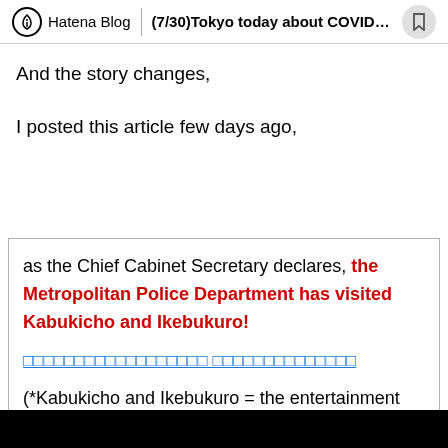Hatena Blog | (7/30)Tokyo today about COVID-19...
And the story changes,
I posted this article few days ago,
as the Chief Cabinet Secretary declares, the Metropolitan Police Department has visited Kabukicho and Ikebukuro!
□□□□□□□□□□□□□□□□□□ □□□□□□□□□□□□□□
(*Kabukicho and Ikebukuro = the entertainment district